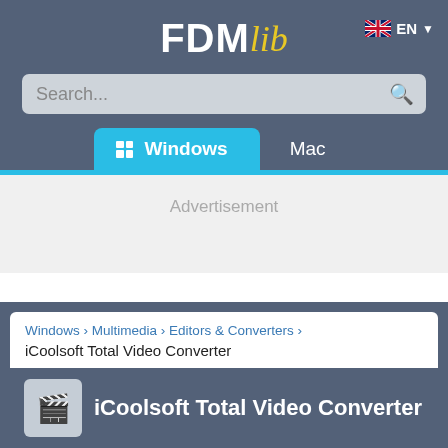FDMlib EN
Search...
Windows  Mac
Advertisement
Windows › Multimedia › Editors & Converters › iCoolsoft Total Video Converter
iCoolsoft Total Video Converter